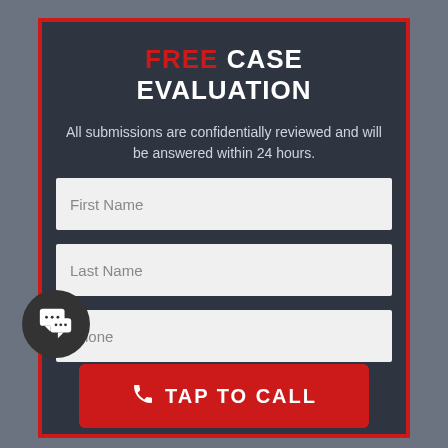FREE CASE EVALUATION
All submissions are confidentially reviewed and will be answered within 24 hours.
[Figure (screenshot): Web form with First Name input field, Last Name input field, Phone input field, and a red TAP TO CALL button. A dark circular chat icon with speech bubbles is overlaid on the lower left.]